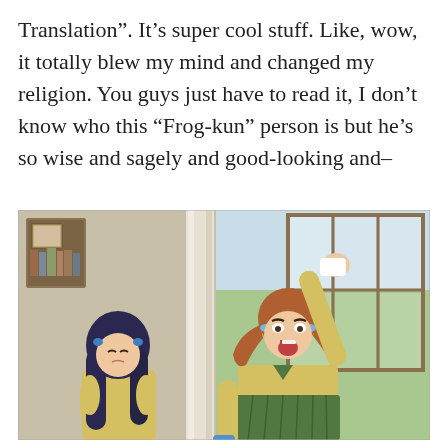Translation”. It’s super cool stuff. Like, wow, it totally blew my mind and changed my religion. You guys just have to read it, I don’t know who this “Frog-kun” person is but he’s so wise and sagely and good-looking and–
[Figure (illustration): Anime screenshot showing two female characters in school uniforms. Left character has long dark/navy blue hair and appears to be crouching or reacting with eyes closed. Right character has brown hair in pigtails and is raising one arm dramatically with mouth open, appearing to shout, wearing a yellow jacket and green skirt. Background shows a room interior with a pillar/column and a window with grid panes on the right side.]